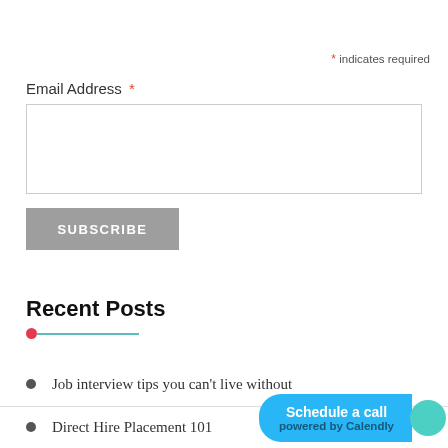* indicates required
Email Address *
[Figure (screenshot): Email address input field (empty text box)]
[Figure (screenshot): SUBSCRIBE button (gray background, white text)]
Recent Posts
Job interview tips you can't live without
Direct Hire Placement 101
Training is the most important thing you can offer
[Figure (other): Schedule a call powered by Calendly widget button (blue pill shape with teal bubble)]